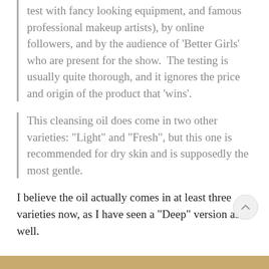test with fancy looking equipment, and famous professional makeup artists), by online followers, and by the audience of 'Better Girls' who are present for the show. The testing is usually quite thorough, and it ignores the price and origin of the product that 'wins'.
This cleansing oil does come in two other varieties: "Light" and "Fresh", but this one is recommended for dry skin and is supposedly the most gentle.
I believe the oil actually comes in at least three varieties now, as I have seen a "Deep" version as well.
Since it was recommended by Get It Beauty, I had high hopes for this oil, but after 4, almost 5 months of testing in various combinations, techniques, follow-up cleansers, and attempts to deny the truth, I must finally conceed that my skin hates this product.